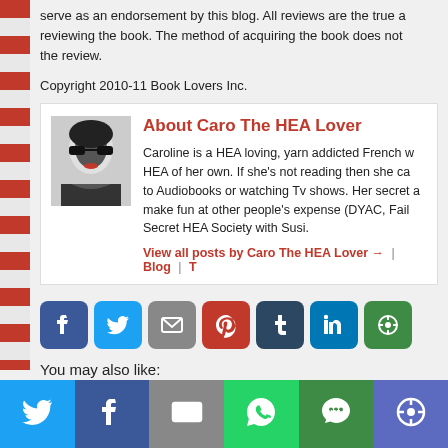serve as an endorsement by this blog. All reviews are the true a… reviewing the book. The method of acquiring the book does not… the review.
Copyright 2010-11 Book Lovers Inc.
About Caro The HEA Lover
[Figure (photo): Black and white photo of Caroline wearing sunglasses]
Caroline is a HEA loving, yarn addicted French w… HEA of her own. If she's not reading then she ca… to Audiobooks or watching Tv shows. Her secret a… make fun at other people's expense (DYAC, Fail… Secret HEA Society with Susi.
View all posts by Caro The HEA Lover → | Blog | T
[Figure (infographic): Social share buttons: Facebook, Twitter, Email, Pinterest, Tumblr, LinkedIn, Other]
You may also like:
[Figure (infographic): Bottom social share bar: Twitter, Facebook, Email, WhatsApp, SMS, Other]